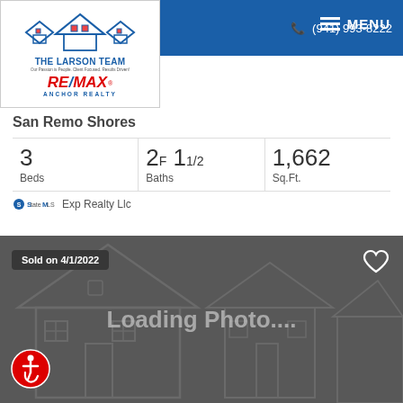Login / Register   (941) 993-8222   MENU
[Figure (logo): The Larson Team RE/MAX Anchor Realty logo with house illustration]
San Remo Shores
| Beds | Baths | Sq.Ft. |
| --- | --- | --- |
| 3 | 2F 11/2 | 1,662 |
Exp Realty Llc
[Figure (photo): Property photo loading placeholder. Shows 'Loading Photo...' text over a dark grey background with a faint house outline illustration. Badge reads 'Sold on 4/1/2022'. Heart favorite icon in top right. Accessibility icon bottom left.]